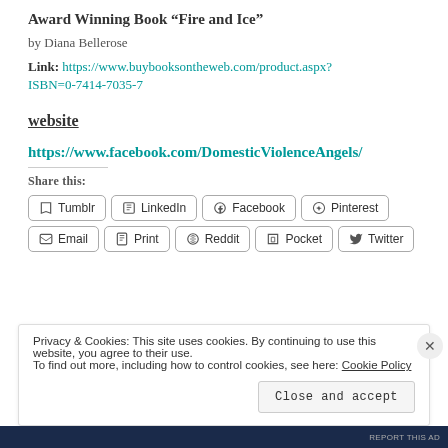Award Winning Book “Fire and Ice”
by Diana Bellerose
Link: https://www.buybooksontheweb.com/product.aspx?ISBN=0-7414-7035-7
website
https://www.facebook.com/DomesticViolenceAngels/
Share this:
Tumblr  LinkedIn  Facebook  Pinterest  Email  Print  Reddit  Pocket  Twitter
Privacy & Cookies: This site uses cookies. By continuing to use this website, you agree to their use. To find out more, including how to control cookies, see here: Cookie Policy
Close and accept